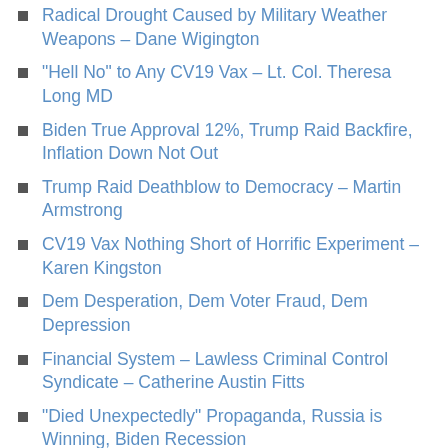Radical Drought Caused by Military Weather Weapons – Dane Wigington
“Hell No” to Any CV19 Vax – Lt. Col. Theresa Long MD
Biden True Approval 12%, Trump Raid Backfire, Inflation Down Not Out
Trump Raid Deathblow to Democracy – Martin Armstrong
CV19 Vax Nothing Short of Horrific Experiment – Karen Kingston
Dem Desperation, Dem Voter Fraud, Dem Depression
Financial System – Lawless Criminal Control Syndicate – Catherine Austin Fitts
“Died Unexpectedly” Propaganda, Russia is Winning, Biden Recession
Whole World is a Banana Republic – Bill Holter
CV19 Vax Lies – Greatest Trust Destroyer in Human History – Steve Kirsch